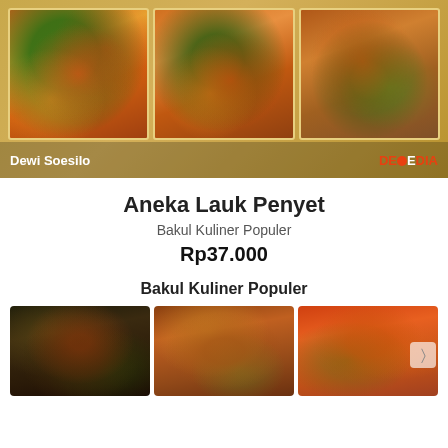[Figure (photo): Book cover showing three Indonesian penyet (smashed) food dishes on banana leaf plates, with author name Dewi Soesilo and DEMEDIA publisher logo on golden background]
Aneka Lauk Penyet
Bakul Kuliner Populer
Rp37.000
Bakul Kuliner Populer
[Figure (photo): Three food photos from Bakul Kuliner Populer: grilled fish, chicken dish, and spicy fish dish]